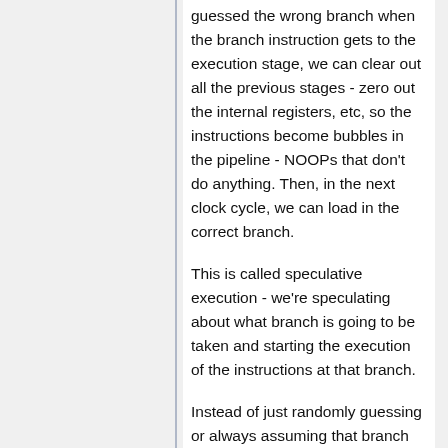guessed the wrong branch when the branch instruction gets to the execution stage, we can clear out all the previous stages - zero out the internal registers, etc, so the instructions become bubbles in the pipeline - NOOPs that don't do anything. Then, in the next clock cycle, we can load in the correct branch.
This is called speculative execution - we're speculating about what branch is going to be taken and starting the execution of the instructions at that branch.
Instead of just randomly guessing or always assuming that branch is taken or not taken, we can use branch prediction. Modern CPUs will use advanced techniques to guess what branches are taken, based on the history of branches